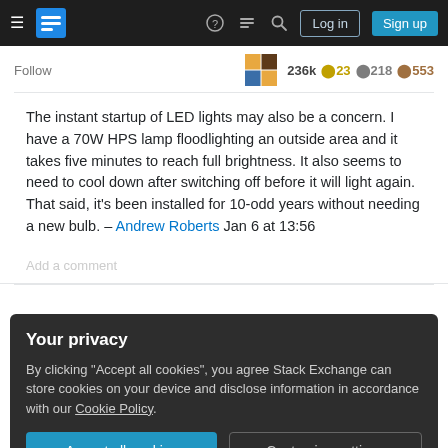Stack Exchange navigation bar with hamburger menu, logo, help, chat, search icons, Log in and Sign up buttons
Follow
236k ⊕23 ⊕218 ⊕553
The instant startup of LED lights may also be a concern. I have a 70W HPS lamp floodlighting an outside area and it takes five minutes to reach full brightness. It also seems to need to cool down after switching off before it will light again. That said, it's been installed for 10-odd years without needing a new bulb. – Andrew Roberts Jan 6 at 13:56
Add a comment
Your privacy
By clicking "Accept all cookies", you agree Stack Exchange can store cookies on your device and disclose information in accordance with our Cookie Policy.
Accept all cookies
Customize settings